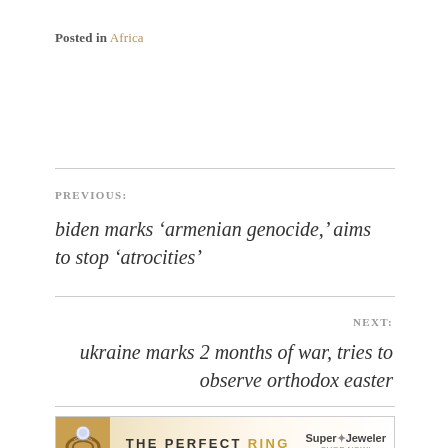Posted in Africa
PREVIOUS:
biden marks ‘armenian genocide,’ aims to stop ‘atrocities’
NEXT:
ukraine marks 2 months of war, tries to observe orthodox easter
[Figure (other): Advertisement banner: THE PERFECT RING, SuperJeweler, SHOP NOW]